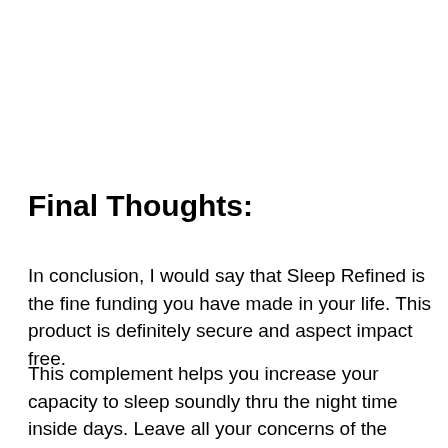Final Thoughts:
In conclusion, I would say that Sleep Refined is the fine funding you have made in your life. This product is definitely secure and aspect impact free.
This complement helps you increase your capacity to sleep soundly thru the night time inside days. Leave all your concerns of the sleepless night time from the second now. Today you get the chance